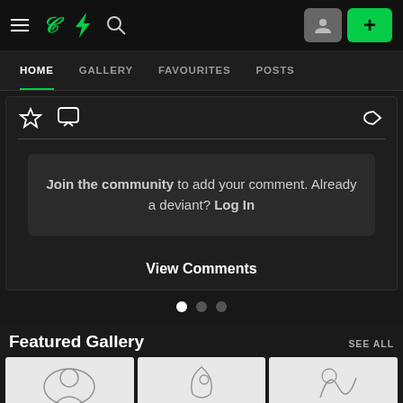DeviantArt navigation bar with hamburger menu, DA logo, search icon, avatar button, and plus button
HOME  GALLERY  FAVOURITES  POSTS
[Figure (screenshot): Interactive panel with star icon, comment icon, share icon, a join-the-community prompt box, and View Comments link]
Join the community to add your comment. Already a deviant? Log In
View Comments
Featured Gallery
SEE ALL
[Figure (illustration): Three thumbnail sketches in a row at the bottom of the page]